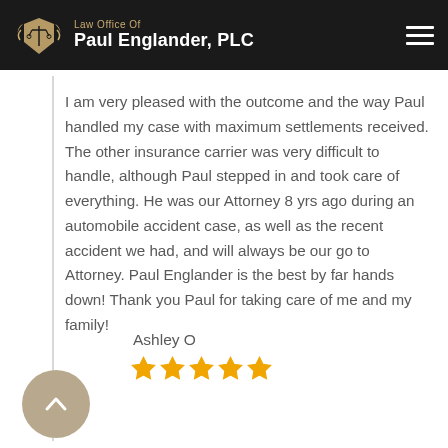Law Office Of Paul Englander, PLC
I am very pleased with the outcome and the way Paul handled my case with maximum settlements received. The other insurance carrier was very difficult to handle, although Paul stepped in and took care of everything. He was our Attorney 8 yrs ago during an automobile accident case, as well as the recent accident we had, and will always be our go to Attorney. Paul Englander is the best by far hands down! Thank you Paul for taking care of me and my family!
Ashley O
[Figure (other): Five gold star rating icons]